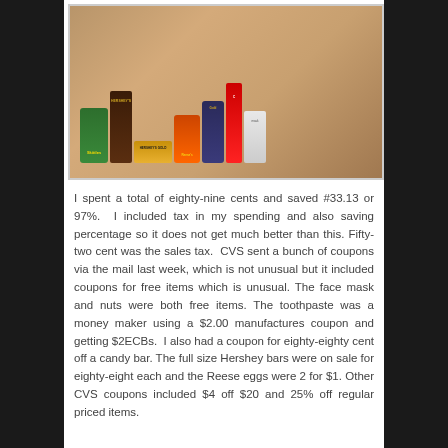[Figure (photo): Photo of multiple candy and grocery products on a wooden table, including Skittles, Hershey's chocolate bar, Reese's, Hershey's Gold, Gold Deluxe Mixed Nuts, a face mask, and other items.]
I spent a total of eighty-nine cents and saved #33.13 or 97%.  I included tax in my spending and also saving percentage so it does not get much better than this. Fifty-two cent was the sales tax.  CVS sent a bunch of coupons via the mail last week, which is not unusual but it included coupons for free items which is unusual. The face mask and nuts were both free items. The toothpaste was a money maker using a $2.00 manufactures coupon and getting $2ECBs.  I also had a coupon for eighty-eighty cent off a candy bar. The full size Hershey bars were on sale for eighty-eight each and the Reese eggs were 2 for $1. Other CVS coupons included $4 off $20 and 25% off regular priced items.